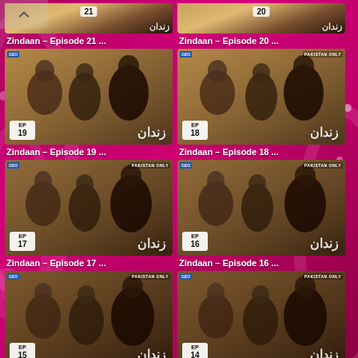[Figure (screenshot): Mobile app screenshot showing a grid of Zindaan drama episode thumbnails on a pink/magenta background. Episodes 21, 20, 19, 18, 17, 16, 15, 14 and two more partially visible at bottom are shown in a 2-column grid layout with episode badges and titles below each thumbnail.]
Zindaan – Episode 21 ...
Zindaan – Episode 20 ...
Zindaan – Episode 19 ...
Zindaan – Episode 18 ...
Zindaan – Episode 17 ...
Zindaan – Episode 16 ...
Zindaan – Episode 15 ...
Zindaan – Episode 14 ...